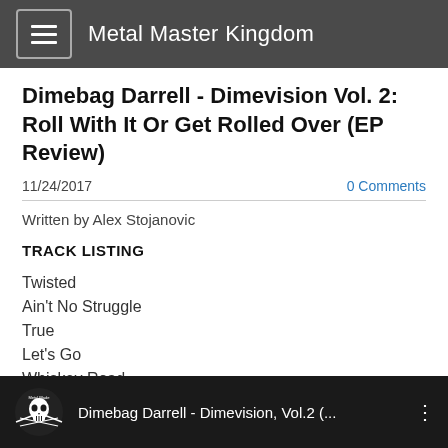Metal Master Kingdom
Dimebag Darrell - Dimevision Vol. 2: Roll With It Or Get Rolled Over (EP Review)
11/24/2017   0 Comments
Written by Alex Stojanovic
TRACK LISTING
Twisted
Ain't No Struggle
True
Let's Go
Whiskey Road
[Figure (screenshot): Video thumbnail showing Metal Blade Records skull logo and text 'Dimebag Darrell - Dimevision, Vol.2 (...' on dark background with three-dot menu icon]